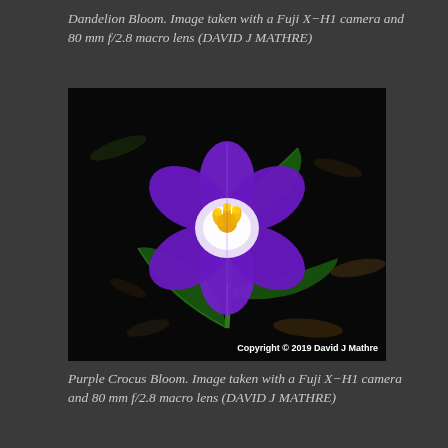Dandelion Bloom. Image taken with a Fuji X-H1 camera and 80 mm f/2.8 macro lens (DAVID J MATHRE)
[Figure (photo): Close-up macro photograph of a purple crocus bloom with a yellow/orange center stamen, green leaves visible, set against a dark/black background. Copyright overlay reads: Copyright © 2019 David J Mathre]
Purple Crocus Bloom. Image taken with a Fuji X-H1 camera and 80 mm f/2.8 macro lens (DAVID J MATHRE)